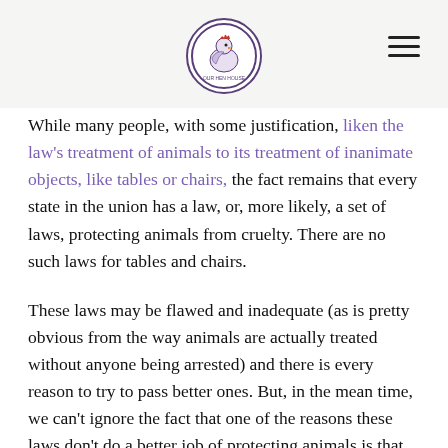[Logo: Our Hen House] [Hamburger menu icon]
While many people, with some justification, liken the law's treatment of animals to its treatment of inanimate objects, like tables or chairs, the fact remains that every state in the union has a law, or, more likely, a set of laws, protecting animals from cruelty. There are no such laws for tables and chairs.
These laws may be flawed and inadequate (as is pretty obvious from the way animals are actually treated without anyone being arrested) and there is every reason to try to pass better ones. But, in the mean time, we can't ignore the fact that one of the reasons these laws don't do a better job of protecting animals is that they are just not very well enforced.
It is therefore exciting when a District Attorney takes a real interest in enforcing cruelty laws. District Attorneys are